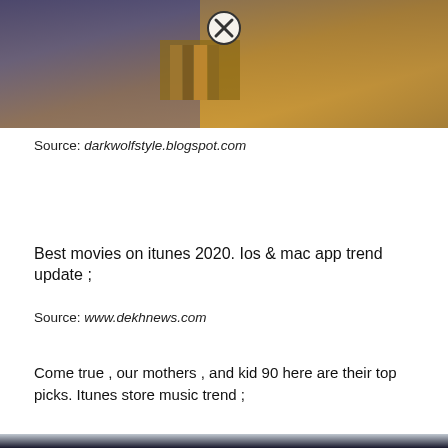[Figure (photo): Top portion of a photo showing a person holding books, with a circular close/cancel button overlay at the top center.]
Source: darkwolfstyle.blogspot.com
Best movies on itunes 2020. Ios & mac app trend update ;
Source: www.dekhnews.com
Come true , our mothers , and kid 90 here are their top picks. Itunes store music trend ;
[Figure (photo): Bottom portion showing a Netflix promotional image with two men holding weapons in front of a military/airport background with barbed wire, and a circular close/cancel button overlay at the bottom center.]